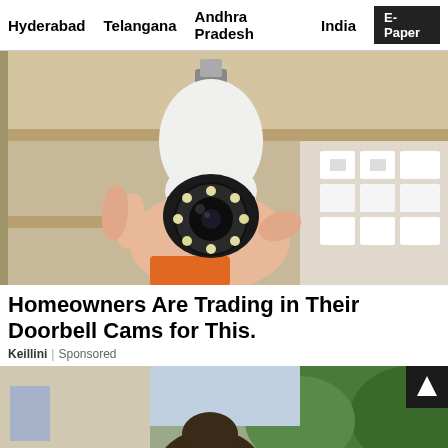Hyderabad   Telangana   Andhra Pradesh   India   E-Paper
[Figure (photo): A hand holding a white bulb-shaped security camera with a circular lens and LED lights, held above a shelf with boxes in the background.]
Homeowners Are Trading in Their Doorbell Cams for This.
Keillini | Sponsored
[Figure (photo): Partial view of a woman standing outdoors near trees and a building, cropped at the top of the head.]